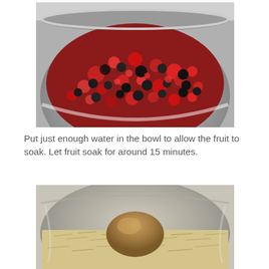[Figure (photo): A metal bowl filled with mixed freeze-dried or frozen berries including raspberries (red) and blueberries (dark/black), viewed from above and slightly to the side.]
Put just enough water in the bowl to allow the fruit to soak. Let fruit soak for around 15 minutes.
[Figure (photo): A metal bowl containing oats and a mound of brown sugar or a similar brown powder/ingredient, viewed from slightly above.]